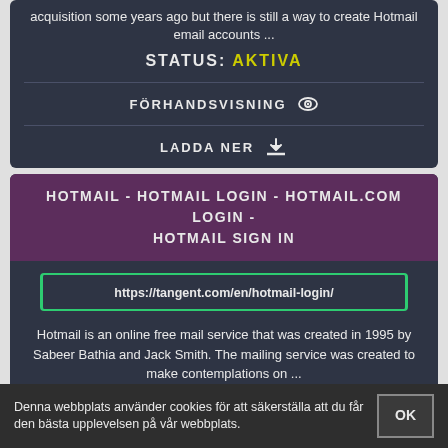acquisition some years ago but there is still a way to create Hotmail email accounts ...
STATUS: AKTIVA
FÖRHANDSVISNING
LADDA NER
HOTMAIL - HOTMAIL LOGIN - HOTMAIL.COM LOGIN - HOTMAIL SIGN IN
https://tangent.com/en/hotmail-login/
Hotmail is an online free mail service that was created in 1995 by Sabeer Bathia and Jack Smith. The mailing service was created to make contemplations on ...
Denna webbplats använder cookies för att säkerställa att du får den bästa upplevelsen på vår webbplats.